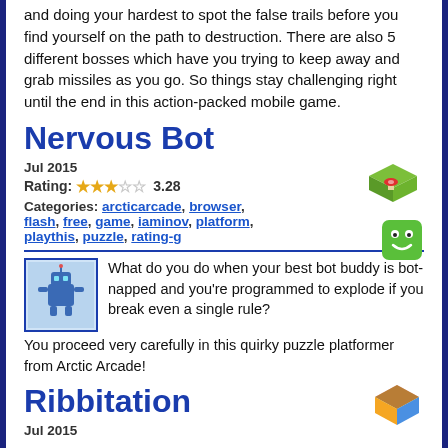and doing your hardest to spot the false trails before you find yourself on the path to destruction. There are also 5 different bosses which have you trying to keep away and grab missiles as you go. So things stay challenging right until the end in this action-packed mobile game.
Nervous Bot
Jul 2015
Rating: 3.28
Categories: arcticarcade, browser, flash, free, game, iaminov, platform, playthis, puzzle, rating-g
[Figure (photo): Thumbnail image of Nervous Bot game showing a blue robot character on a dark background]
What do you do when your best bot buddy is bot-napped and you're programmed to explode if you break even a single rule? You proceed very carefully in this quirky puzzle platformer from Arctic Arcade!
Ribbitation
Jul 2015